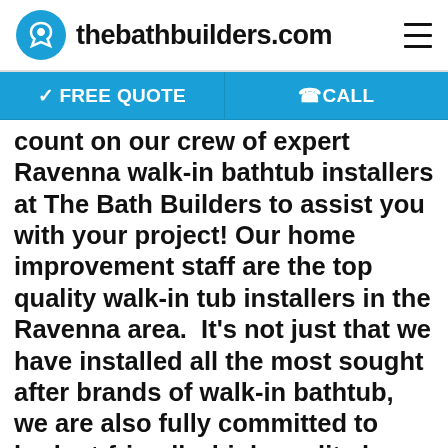thebathbuilders.com
✓ FREE QUOTE   @CALL
count on our crew of expert Ravenna walk-in bathtub installers at The Bath Builders to assist you with your project! Our home improvement staff are the top quality walk-in tub installers in the Ravenna area.  It's not just that we have installed all the most sought after brands of walk-in bathtub, we are also fully committed to budget-friendly, high quality home improvement services. Our staff is wanting to hear about your bathroom remodeling goals, and then delivering you a no-fuss project plan that meets those